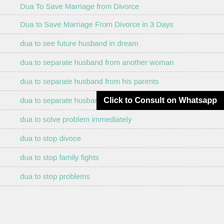Dua To Save Marriage from Divorce
Dua to Save Marriage From Divorce in 3 Days
dua to see future husband in dream
dua to separate husband from another woman
dua to separate husband from his parents
dua to separate husband
dua to solve problem immediately
dua to stop divoce
dua to stop family fights
dua to stop problems